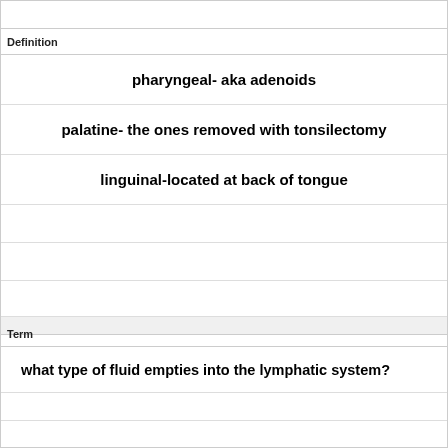Definition
pharyngeal- aka adenoids
palatine- the ones removed with tonsilectomy
linguinal-located at back of tongue
Term
what type of fluid empties into the lymphatic system?